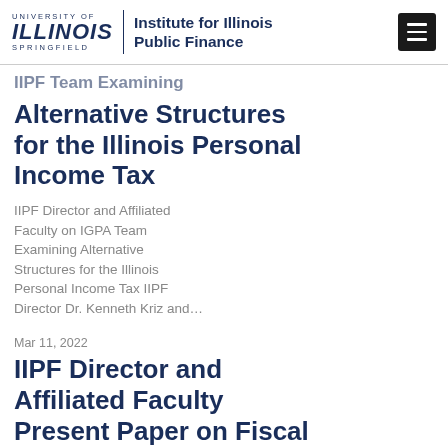University of Illinois Springfield | Institute for Illinois Public Finance
IIPF Team Examining Alternative Structures for the Illinois Personal Income Tax
IIPF Director and Affiliated Faculty on IGPA Team Examining Alternative Structures for the Illinois Personal Income Tax IIPF Director Dr. Kenneth Kriz and…
Mar 11, 2022
IIPF Director and Affiliated Faculty Present Paper on Fiscal Sustainability at